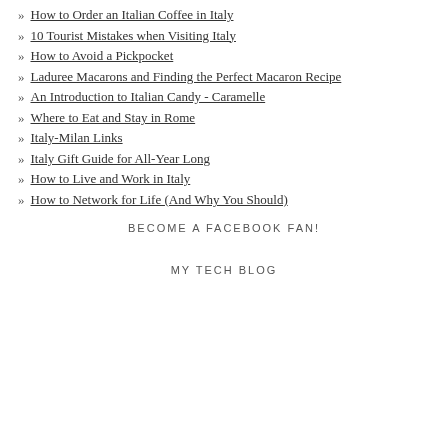How to Order an Italian Coffee in Italy
10 Tourist Mistakes when Visiting Italy
How to Avoid a Pickpocket
Laduree Macarons and Finding the Perfect Macaron Recipe
An Introduction to Italian Candy - Caramelle
Where to Eat and Stay in Rome
Italy-Milan Links
Italy Gift Guide for All-Year Long
How to Live and Work in Italy
How to Network for Life (And Why You Should)
BECOME A FACEBOOK FAN!
MY TECH BLOG